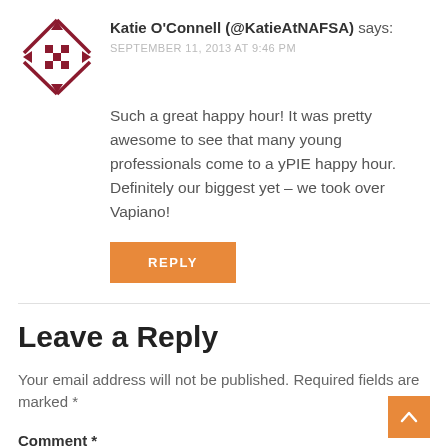[Figure (logo): NAFSA logo — dark red geometric diamond/cross pattern made of small squares and diagonal lines]
Katie O'Connell (@KatieAtNAFSA) says:
SEPTEMBER 11, 2013 AT 9:46 PM
Such a great happy hour! It was pretty awesome to see that many young professionals come to a yPIE happy hour. Definitely our biggest yet – we took over Vapiano!
REPLY
Leave a Reply
Your email address will not be published. Required fields are marked *
Comment *